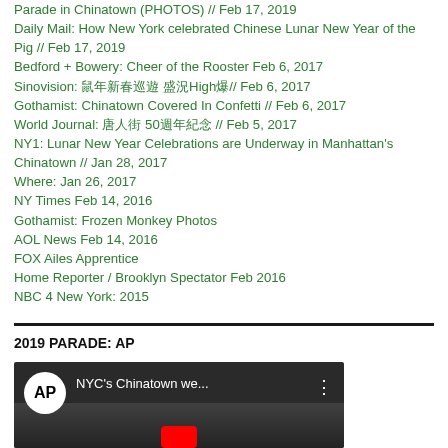Parade in Chinatown (PHOTOS) // Feb 17, 2019
Daily Mail: How New York celebrated Chinese Lunar New Year of the Pig // Feb 17, 2019
Bedford + Bowery: Cheer of the Rooster Feb 6, 2017
Sinovision: 鼠年新春巡遊 盛況High爆// Feb 6, 2017
Gothamist: Chinatown Covered In Confetti // Feb 6, 2017
World Journal: 唐人街 50週年紀念 // Feb 5, 2017
NY1: Lunar New Year Celebrations are Underway in Manhattan's Chinatown // Jan 28, 2017
Where: Jan 26, 2017
NY Times Feb 14, 2016
Gothamist: Frozen Monkey Photos
AOL News Feb 14, 2016
FOX Ailes Apprentice
Home Reporter / Brooklyn Spectator Feb 2016
NBC 4 New York: 2015
2019 PARADE: AP
[Figure (screenshot): AP video thumbnail showing NYC's Chinatown we... with AP logo and three-dot menu icon]